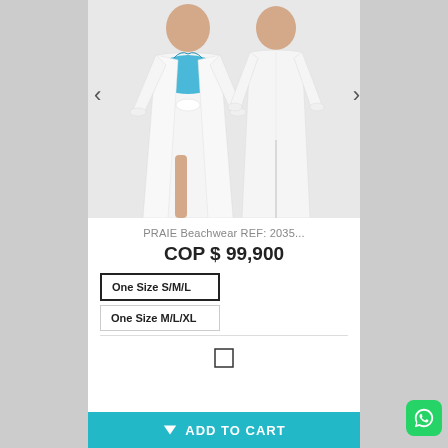[Figure (photo): Two views of a woman wearing a white sheer long beach cover-up/kimono robe. Left view shows front with blue swimsuit visible and tied belt. Right view shows back of the garment.]
PRAIE Beachwear REF: 2035...
COP $ 99,900
One Size S/M/L
One Size M/L/XL
ADD TO CART